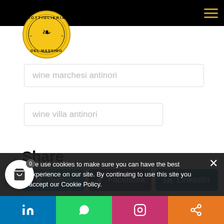Bottiglieria del Massimo
[Figure (logo): Bottiglieria del Massimo circular logo with yellow border and black leaf motif]
wine marchesi antinori
wine villa antinori
Share
Twitter  Facebook  LinkedIn
We use cookies to make sure you can have the best experience on our site. By continuing to use this site you accept our Cookie Policy.
LinkedIn  WhatsApp  Instagram  Share